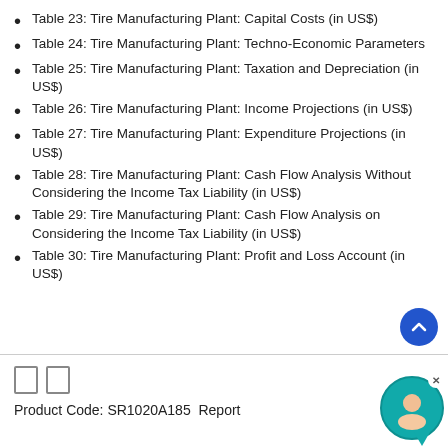Table 23: Tire Manufacturing Plant: Capital Costs (in US$)
Table 24: Tire Manufacturing Plant: Techno-Economic Parameters
Table 25: Tire Manufacturing Plant: Taxation and Depreciation (in US$)
Table 26: Tire Manufacturing Plant: Income Projections (in US$)
Table 27: Tire Manufacturing Plant: Expenditure Projections (in US$)
Table 28: Tire Manufacturing Plant: Cash Flow Analysis Without Considering the Income Tax Liability (in US$)
Table 29: Tire Manufacturing Plant: Cash Flow Analysis on Considering the Income Tax Liability (in US$)
Table 30: Tire Manufacturing Plant: Profit and Loss Account (in US$)
Product Code: SR1020A185  Report